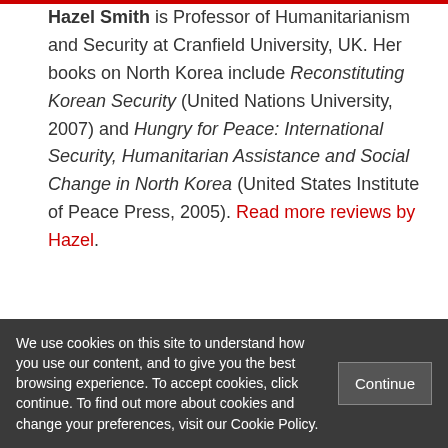Hazel Smith is Professor of Humanitarianism and Security at Cranfield University, UK. Her books on North Korea include Reconstituting Korean Security (United Nations University, 2007) and Hungry for Peace: International Security, Humanitarian Assistance and Social Change in North Korea (United States Institute of Peace Press, 2005). Read more reviews by Hazel.
We use cookies on this site to understand how you use our content, and to give you the best browsing experience. To accept cookies, click continue. To find out more about cookies and change your preferences, visit our Cookie Policy.